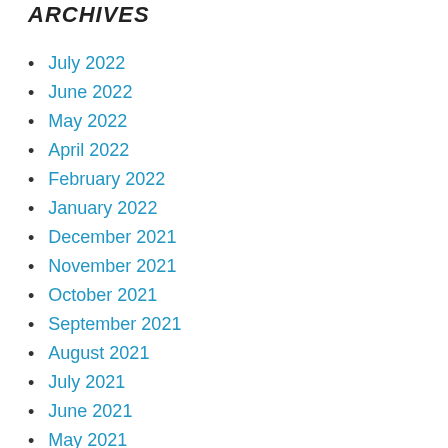ARCHIVES
July 2022
June 2022
May 2022
April 2022
February 2022
January 2022
December 2021
November 2021
October 2021
September 2021
August 2021
July 2021
June 2021
May 2021
April 2021